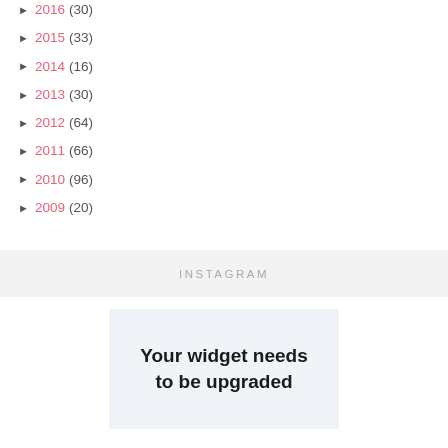► 2016 (30)
► 2015 (33)
► 2014 (16)
► 2013 (30)
► 2012 (64)
► 2011 (66)
► 2010 (96)
► 2009 (20)
INSTAGRAM
Your widget needs to be upgraded